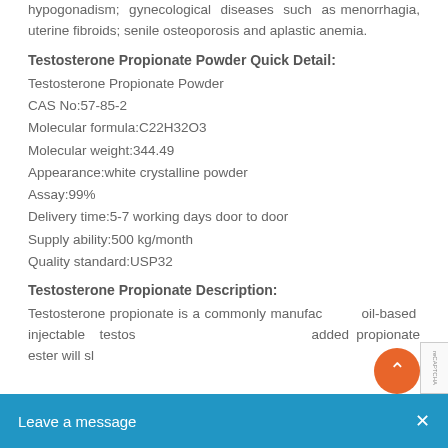hypogonadism; gynecological diseases such as menorrhagia, uterine fibroids; senile osteoporosis and aplastic anemia.
Testosterone Propionate Powder Quick Detail:
Testosterone Propionate Powder
CAS No:57-85-2
Molecular formula:C22H32O3
Molecular weight:344.49
Appearance:white crystalline powder
Assay:99%
Delivery time:5-7 working days door to door
Supply ability:500 kg/month
Quality standard:USP32
Testosterone Propionate Description:
Testosterone propionate is a commonly manufactured, oil-based injectable testosterone compound to which added propionate ester will slow the rate in which the